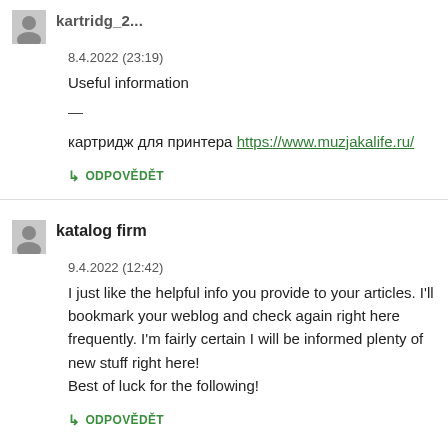8.4.2022 (23:19)
Useful information
—
картридж для принтера https://www.muzjakalife.ru/
↳ ODPOVĚDĚT
katalog firm
9.4.2022 (12:42)
I just like the helpful info you provide to your articles. I'll bookmark your weblog and check again right here frequently. I'm fairly certain I will be informed plenty of new stuff right here!
Best of luck for the following!
↳ ODPOVĚDĚT